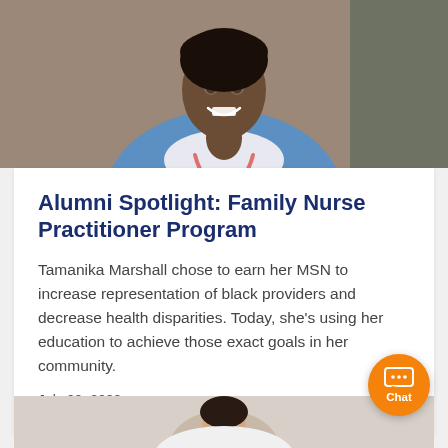[Figure (photo): Top portion of a photo showing a smiling Black woman wearing a stethoscope and medical attire, cropped at the shoulders]
Alumni Spotlight: Family Nurse Practitioner Program
Tamanika Marshall chose to earn her MSN to increase representation of black providers and decrease health disparities. Today, she's using her education to achieve those exact goals in her community.
July 22, 2022
[Figure (photo): Bottom cropped portion of another photo showing a woman, partially visible at the bottom of the page]